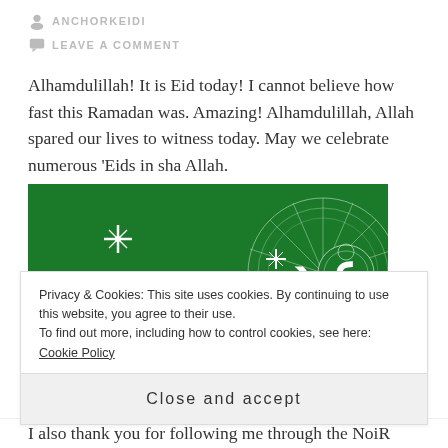ANCHORKEIDI
LEAVE A COMMENT
Alhamdulillah! It is Eid today! I cannot believe how fast this Ramadan was. Amazing! Alhamdulillah, Allah spared our lives to witness today. May we celebrate numerous 'Eids in sha Allah.
[Figure (photo): Eid Mubarak greeting image on a dark green background with Arabic calligraphy and decorative mandala pattern in white.]
Privacy & Cookies: This site uses cookies. By continuing to use this website, you agree to their use.
To find out more, including how to control cookies, see here: Cookie Policy
Close and accept
I also thank you for following me through the NoiR